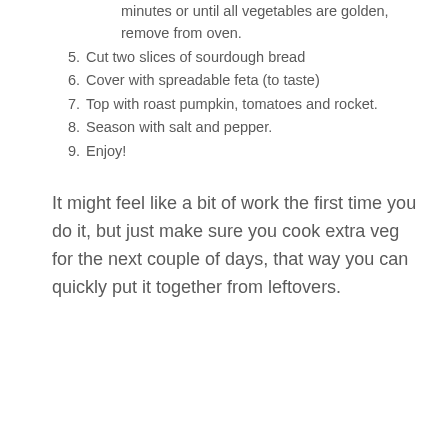minutes or until all vegetables are golden, remove from oven.
5. Cut two slices of sourdough bread
6. Cover with spreadable feta (to taste)
7. Top with roast pumpkin, tomatoes and rocket.
8. Season with salt and pepper.
9. Enjoy!
It might feel like a bit of work the first time you do it, but just make sure you cook extra veg for the next couple of days, that way you can quickly put it together from leftovers.